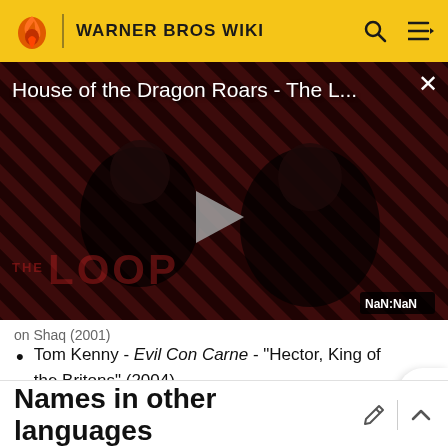WARNER BROS WIKI
[Figure (screenshot): Video player showing 'House of the Dragon Roars - The L...' with a dark diagonal striped background, play button in center, THE LOOP text at bottom left, close X button top right, and NaN:NaN timestamp bottom right]
Tom Kenny - Evil Con Carne - "Hector, King of the Britons" (2004)
Names in other languages